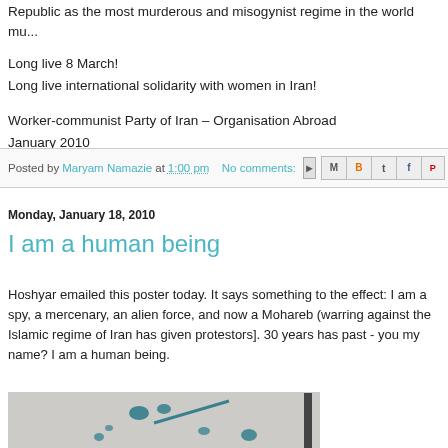Republic as the most murderous and misogynist regime in the world mu...
Long live 8 March!
Long live international solidarity with women in Iran!
Worker-communist Party of Iran – Organisation Abroad
January 2010
Posted by Maryam Namazie at 1:00 pm   No comments:
Monday, January 18, 2010
I am a human being
Hoshyar emailed this poster today. It says something to the effect: I am a spy, a mercenary, an alien force, and now a Mohareb (warring against the Islamic regime of Iran has given protestors]. 30 years has past - you my name? I am a human being.
[Figure (photo): A poster with dark teal ink marks/text on a light background, partially visible]